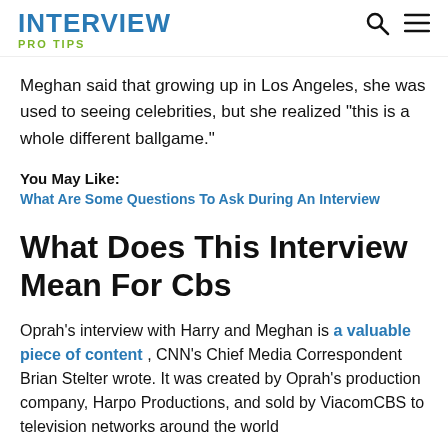INTERVIEW  PRO TIPS
Meghan said that growing up in Los Angeles, she was used to seeing celebrities, but she realized “this is a whole different ballgame.”
You May Like:
What Are Some Questions To Ask During An Interview
What Does This Interview Mean For Cbs
Oprah’s interview with Harry and Meghan is a valuable piece of content , CNN’s Chief Media Correspondent Brian Stelter wrote. It was created by Oprah’s production company, Harpo Productions, and sold by ViacomCBS to television networks around the world